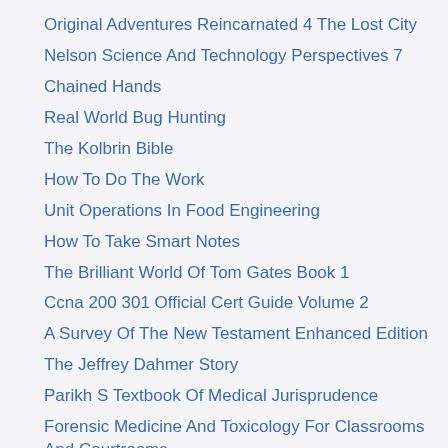Original Adventures Reincarnated 4 The Lost City
Nelson Science And Technology Perspectives 7
Chained Hands
Real World Bug Hunting
The Kolbrin Bible
How To Do The Work
Unit Operations In Food Engineering
How To Take Smart Notes
The Brilliant World Of Tom Gates Book 1
Ccna 200 301 Official Cert Guide Volume 2
A Survey Of The New Testament Enhanced Edition
The Jeffrey Dahmer Story
Parikh S Textbook Of Medical Jurisprudence
Forensic Medicine And Toxicology For Classrooms And Courtrooms
Classroom Of The Elite Year 2 Light Novel Vol 1